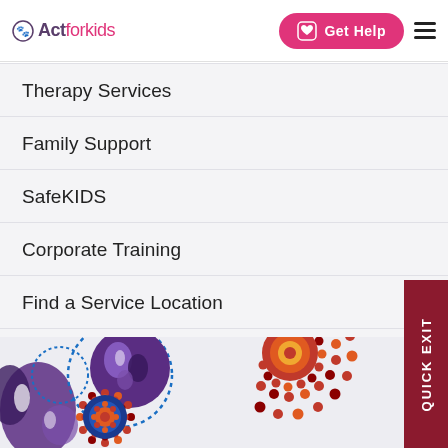Act for kids | Get Help
Therapy Services
Family Support
SafeKIDS
Corporate Training
Find a Service Location
[Figure (illustration): Aboriginal dot art illustration with colourful circular patterns in red, orange, purple and blue on a light grey background. A 'QUICK EXIT' button is overlaid on the right side.]